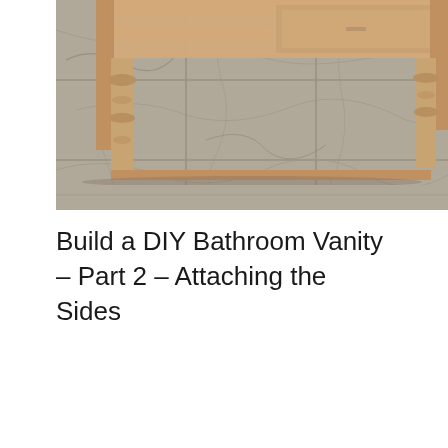[Figure (photo): A partially assembled wooden bathroom vanity cabinet with turned legs, resting on a grey marble-look tile floor. The vanity frame shows natural/unfinished wood construction. The photo is cropped showing mainly the lower portion and floor.]
Build a DIY Bathroom Vanity – Part 2 – Attaching the Sides